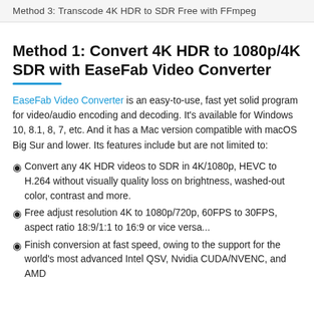Method 3: Transcode 4K HDR to SDR Free with FFmpeg
Method 1: Convert 4K HDR to 1080p/4K SDR with EaseFab Video Converter
EaseFab Video Converter is an easy-to-use, fast yet solid program for video/audio encoding and decoding. It's available for Windows 10, 8.1, 8, 7, etc. And it has a Mac version compatible with macOS Big Sur and lower. Its features include but are not limited to:
Convert any 4K HDR videos to SDR in 4K/1080p, HEVC to H.264 without visually quality loss on brightness, washed-out color, contrast and more.
Free adjust resolution 4K to 1080p/720p, 60FPS to 30FPS, aspect ratio 18:9/1:1 to 16:9 or vice versa...
Finish conversion at fast speed, owing to the support for the world's most advanced Intel QSV, Nvidia CUDA/NVENC, and AMD